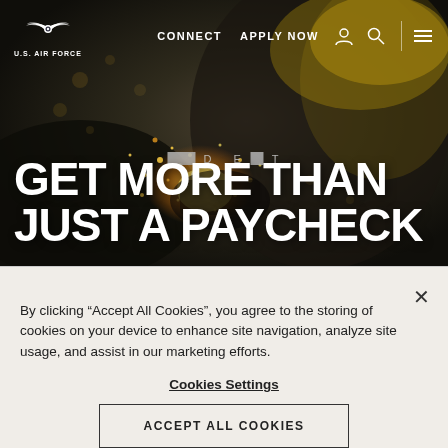[Figure (photo): U.S. Air Force website screenshot showing a hero image of a worker using angle grinder with sparks flying, wearing yellow hard hat and protective gear, dark industrial background]
GET MORE THAN JUST A PAYCHECK
By clicking “Accept All Cookies”, you agree to the storing of cookies on your device to enhance site navigation, analyze site usage, and assist in our marketing efforts.
Cookies Settings
ACCEPT ALL COOKIES